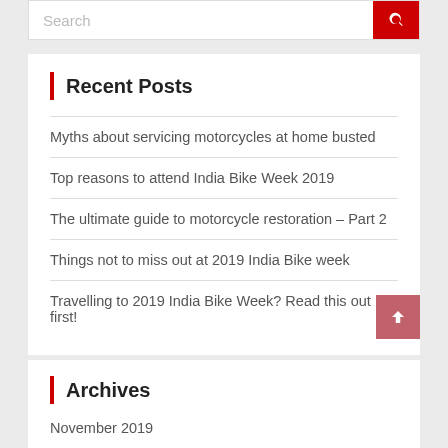Recent Posts
Myths about servicing motorcycles at home busted
Top reasons to attend India Bike Week 2019
The ultimate guide to motorcycle restoration – Part 2
Things not to miss out at 2019 India Bike week
Travelling to 2019 India Bike Week? Read this out first!
Archives
November 2019